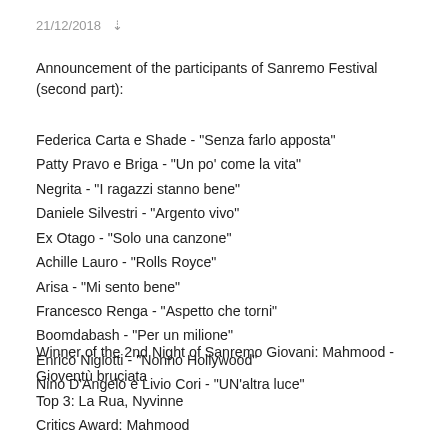21/12/2018 ↓
Announcement of the participants of Sanremo Festival (second part):
Federica Carta e Shade - "Senza farlo apposta"
Patty Pravo e Briga - "Un po' come la vita"
Negrita - "I ragazzi stanno bene"
Daniele Silvestri - "Argento vivo"
Ex Otago - "Solo una canzone"
Achille Lauro - "Rolls Royce"
Arisa - "Mi sento bene"
Francesco Renga - "Aspetto che torni"
Boomdabash - "Per un milione"
Enrico Nigiotti - "Nonno Hollywood"
Nino D'Angelo e Livio Cori - "UN'altra luce"
Winner of the 2nd Night of Sanremo Giovani: Mahmood - Gioventù bruciata
Top 3: La Rua, Nyvinne
Critics Award: Mahmood